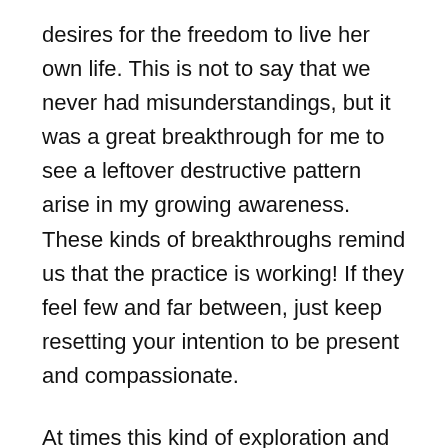desires for the freedom to live her own life. This is not to say that we never had misunderstandings, but it was a great breakthrough for me to see a leftover destructive pattern arise in my growing awareness. These kinds of breakthroughs remind us that the practice is working! If they feel few and far between, just keep resetting your intention to be present and compassionate.
At times this kind of exploration and self-discovery is painful. We may simply want to get rid of or bury patterns, but this just fuels them. We might be over-efforting, digging too deep too fast. Insights arise out of awareness. If you have to put on an oxygen mask and dive into the depths, you may be forcing the